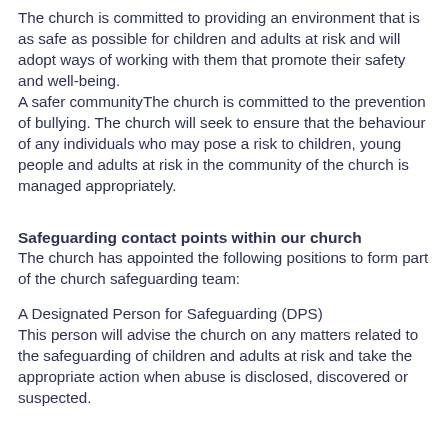The church is committed to providing an environment that is as safe as possible for children and adults at risk and will adopt ways of working with them that promote their safety and well-being. A safer communityThe church is committed to the prevention of bullying. The church will seek to ensure that the behaviour of any individuals who may pose a risk to children, young people and adults at risk in the community of the church is managed appropriately.
Safeguarding contact points within our church
The church has appointed the following positions to form part of the church safeguarding team:
A Designated Person for Safeguarding (DPS) This person will advise the church on any matters related to the safeguarding of children and adults at risk and take the appropriate action when abuse is disclosed, discovered or suspected.